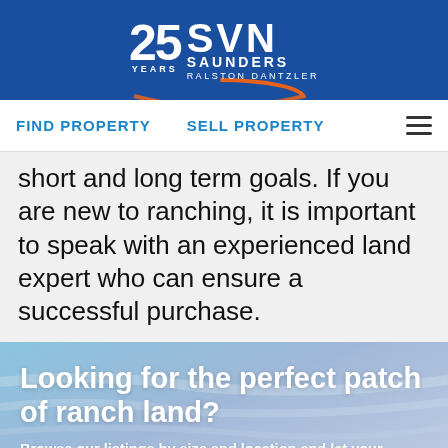[Figure (logo): SVN Saunders Ralston Dantzler logo with '25 YEARS' anniversary badge on blue background]
FIND PROPERTY   SELL PROPERTY
short and long term goals. If you are new to ranching, it is important to speak with an experienced land expert who can ensure a successful purchase.
Looking for the perfect patch of ranch land?
Browse our listings by size and location and let your thoughts wander across thousands of acres of stunning ranch land.
Find Your Ranch Land